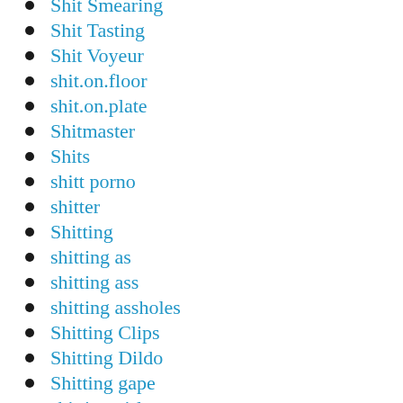Shit Smearing
Shit Tasting
Shit Voyeur
shit.on.floor
shit.on.plate
Shitmaster
Shits
shitt porno
shitter
Shitting
shitting as
shitting ass
shitting assholes
Shitting Clips
Shitting Dildo
Shitting gape
shitting girls